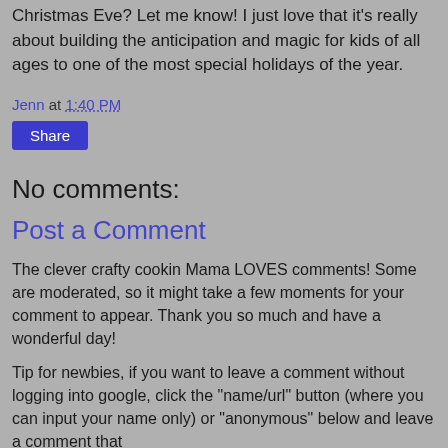Christmas Eve?  Let me know! I just love that it's really about building the anticipation and magic for kids of all ages to one of the most special holidays of the year.
Jenn at 1:40 PM
Share
No comments:
Post a Comment
The clever crafty cookin Mama LOVES comments! Some are moderated, so it might take a few moments for your comment to appear. Thank you so much and have a wonderful day!
Tip for newbies, if you want to leave a comment without logging into google, click the "name/url" button (where you can input your name only) or "anonymous" below and leave a comment that